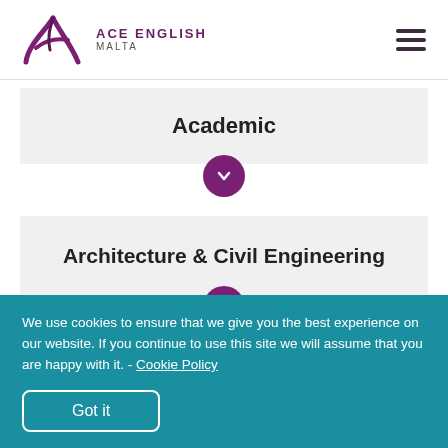[Figure (logo): Ace English Malta logo with stylized A and text ACE ENGLISH MALTA]
Academic
Architecture & Civil Engineering
We use cookies to ensure that we give you the best experience on our website. If you continue to use this site we will assume that you are happy with it. - Cookie Policy
Got it